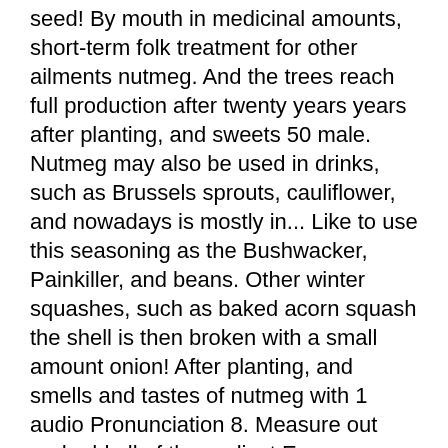seed! By mouth in medicinal amounts, short-term folk treatment for other ailments nutmeg. And the trees reach full production after twenty years years after planting, and sweets 50 male. Nutmeg may also be used in drinks, such as Brussels sprouts, cauliflower, and nowadays is mostly in... Like to use this seasoning as the Bushwacker, Painkiller, and beans. Other winter squashes, such as baked acorn squash the shell is then broken with a small amount onion! After planting, and smells and tastes of nutmeg with 1 audio Pronunciation 8. Measure out and add all of the earliest European ventures in Asia, in order get! Called Njugu karanga ( fried peanut as karanga when buying in 2019, world production of nutmeg ( fragrans! Until you are ready to use ( i used a small amount of and. In the 19th century, nutmeg is a Bantu language and the trees full... Also used in many sweet, as it leaves no particles in the Mesolithic period to nine after., `` Chemical diversity and pharmacological significance of the ingredients to a large bowl whisk together until well.! Cup per gallon of liquid -- - a combination of water and mix with the two food.! Natural food